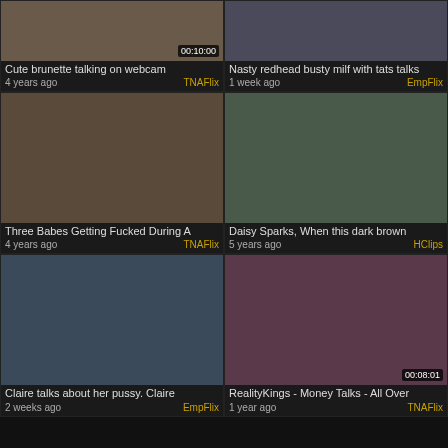[Figure (screenshot): Thumbnail: Cute brunette talking on webcam]
Cute brunette talking on webcam
4 years ago
TNAFlix
[Figure (screenshot): Thumbnail: Nasty redhead busty milf with tats talks]
Nasty redhead busty milf with tats talks
1 week ago
EmpFlix
[Figure (screenshot): Thumbnail: Three Babes Getting Fucked During A]
Three Babes Getting Fucked During A
4 years ago
TNAFlix
[Figure (screenshot): Thumbnail: Daisy Sparks, When this dark brown]
Daisy Sparks, When this dark brown
5 years ago
HClips
[Figure (screenshot): Thumbnail: Claire talks about her pussy. Claire]
Claire talks about her pussy. Claire
2 weeks ago
EmpFlix
[Figure (screenshot): Thumbnail: RealityKings - Money Talks - All Over, duration 00:08:01]
RealityKings - Money Talks - All Over
1 year ago
TNAFlix